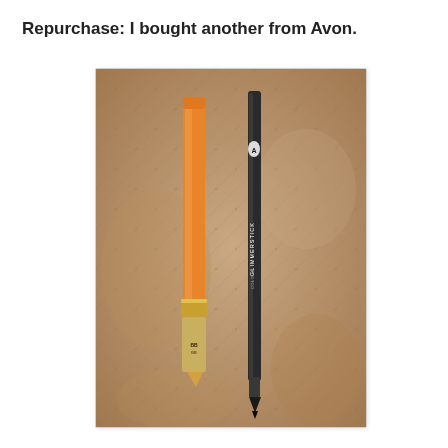Repurchase: I bought another from Avon.
[Figure (photo): Two cosmetic eyeliner/eye pencil products lying on a brown quilted fabric surface. On the left is an orange/gold metallic cosmetic pencil with a silver band near the tip. On the right is a slim black Avon eyeliner pencil with white text reading 'GLIMMERSTICK' and the Avon logo.]